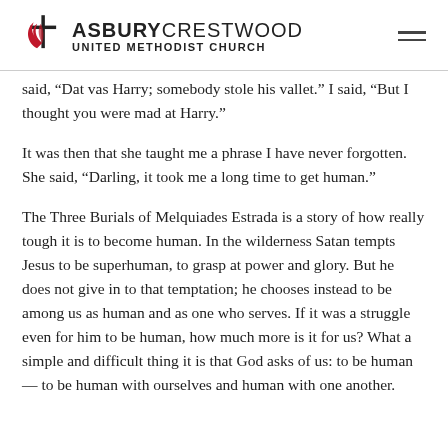Asbury Crestwood United Methodist Church
said, “Dat vas Harry; somebody stole his vallet.” I said, “But I thought you were mad at Harry.”
It was then that she taught me a phrase I have never forgotten. She said, “Darling, it took me a long time to get human.”
The Three Burials of Melquiades Estrada is a story of how really tough it is to become human. In the wilderness Satan tempts Jesus to be superhuman, to grasp at power and glory. But he does not give in to that temptation; he chooses instead to be among us as human and as one who serves. If it was a struggle even for him to be human, how much more is it for us? What a simple and difficult thing it is that God asks of us: to be human — to be human with ourselves and human with one another.